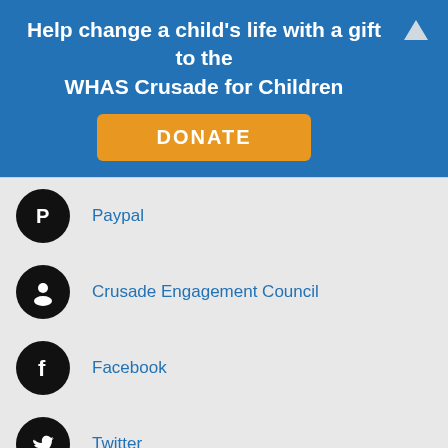Help change a child's life with a gift to the WHAS Crusade for Children
Paypal
Crusade Engagement Council
Facebook
Twitter
Instagram
Join the Crusade Family! Get in on the fun! Join our growing Email list. CLICK HERE